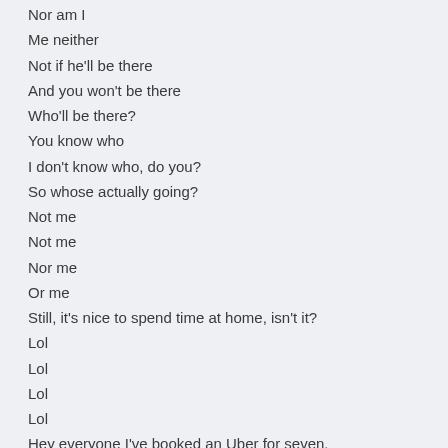Nor am I
Me neither
Not if he'll be there
And you won't be there
Who'll be there?
You know who
I don't know who, do you?
So whose actually going?
Not me
Not me
Nor me
Or me
Still, it's nice to spend time at home, isn't it?
Lol
Lol
Lol
Lol
Hey everyone I've booked an Uber for seven.